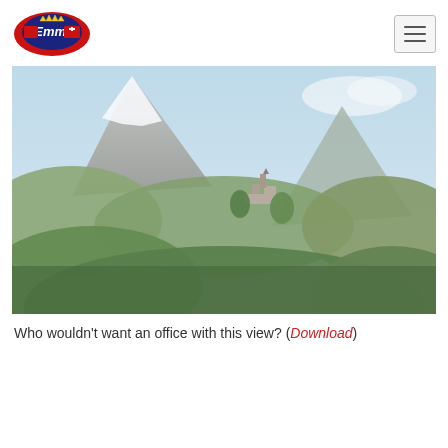[Figure (logo): Emmi dairy brand logo — oval dark blue shape with red Swiss flag ribbon, crown, and 'Emmi' text in white with a red cross flag element]
[Figure (photo): Alpine landscape photograph showing a large snow-capped mountain peak in the background, green forested hills in the foreground, and a historic castle or fortress perched on a hilltop to the right of center]
Who wouldn't want an office with this view? (Download)